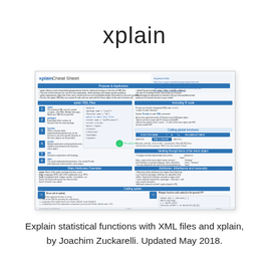xplain
[Figure (screenshot): A miniature thumbnail of the xplain Cheat Sheet document, showing a blue-themed reference card with sections about xplain XML files, Purpose & Application, Attributes, Calling xplain, and more. The cheat sheet has a blue header reading 'xplain Cheat Sheet' and multiple columns of dense technical content.]
Explain statistical functions with XML files and xplain, by Joachim Zuckarelli. Updated May 2018.